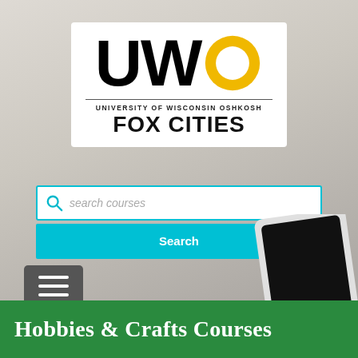[Figure (logo): UWO University of Wisconsin Oshkosh Fox Cities logo with yellow O ring]
Reseller Login
[Figure (screenshot): Search courses input box with cyan border and search icon placeholder]
[Figure (other): Cyan Search button]
[Figure (other): Hamburger menu button (three horizontal lines) in gray]
Hobbies & Crafts Courses